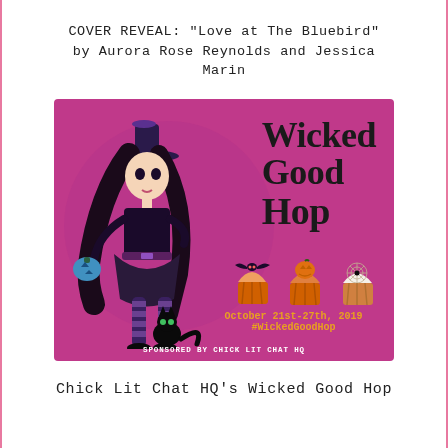COVER REVEAL: "Love at The Bluebird" by Aurora Rose Reynolds and Jessica Marin
[Figure (illustration): Wicked Good Hop promotional banner. Magenta/pink background with large darker pink circle. A cartoon witch girl with long black hair, black hat, black dress and striped stockings holds a blue jack-o-lantern. A black cat sits near her feet. Right side shows 'Wicked Good Hop' in large bold text, three Halloween cupcakes, and text reading 'October 21st-27th, 2019 #WickedGoodHop'. Bottom reads 'SPONSORED BY CHICK LIT CHAT HQ'.]
Chick Lit Chat HQ's Wicked Good Hop